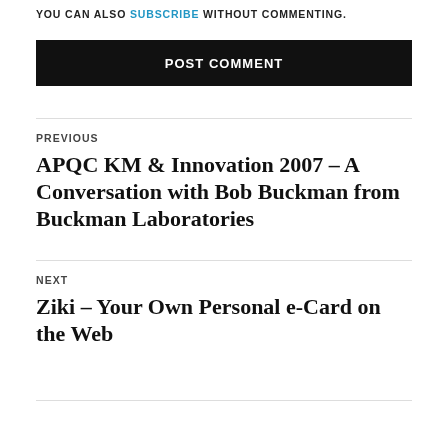YOU CAN ALSO SUBSCRIBE WITHOUT COMMENTING.
POST COMMENT
PREVIOUS
APQC KM & Innovation 2007 – A Conversation with Bob Buckman from Buckman Laboratories
NEXT
Ziki – Your Own Personal e-Card on the Web